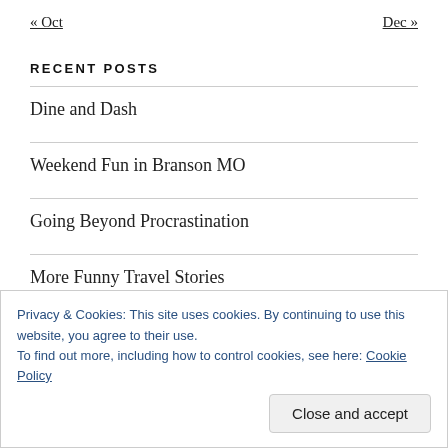« Oct   Dec »
RECENT POSTS
Dine and Dash
Weekend Fun in Branson MO
Going Beyond Procrastination
More Funny Travel Stories
Privacy & Cookies: This site uses cookies. By continuing to use this website, you agree to their use.
To find out more, including how to control cookies, see here: Cookie Policy
Close and accept